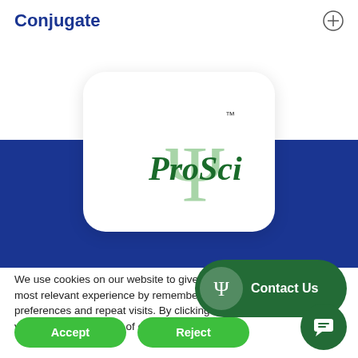Conjugate
[Figure (logo): ProSci logo with psi symbol on white rounded card with dark blue background band]
We use cookies on our website to give you the most relevant experience by remembering your preferences and repeat visits. By clicking “Accept”, you consent to the use of cookies.
[Figure (other): Contact Us button: dark green pill-shaped button with psi icon circle and text 'Contact Us']
[Figure (other): Accept button: green pill-shaped button]
[Figure (other): Reject button: green pill-shaped button]
[Figure (other): Chat bubble button: dark green circle button with chat icon]